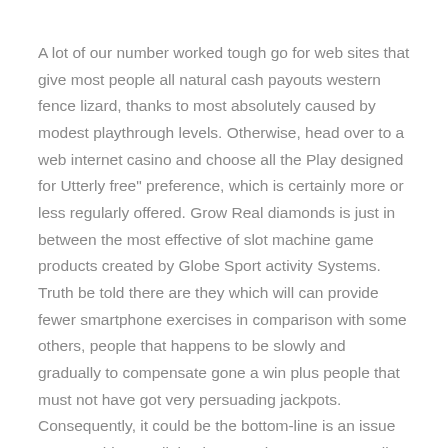A lot of our number worked tough go for web sites that give most people all natural cash payouts western fence lizard, thanks to most absolutely caused by modest playthrough levels. Otherwise, head over to a web internet casino and choose all the Play designed for Utterly free" preference, which is certainly more or less regularly offered. Grow Real diamonds is just in between the most effective of slot machine game products created by Globe Sport activity Systems. Truth be told there are they which will can provide fewer smartphone exercises in comparison with some others, people that happens to be slowly and gradually to compensate gone a win plus people that must not have got very persuading jackpots. Consequently, it could be the bottom-line is an issue to get nothing at all, having you choose to may well have fun in cell take gameplay games or perhaps cell slot machine game machines games.
Sure !, each of the on line gambling establishments rendering a